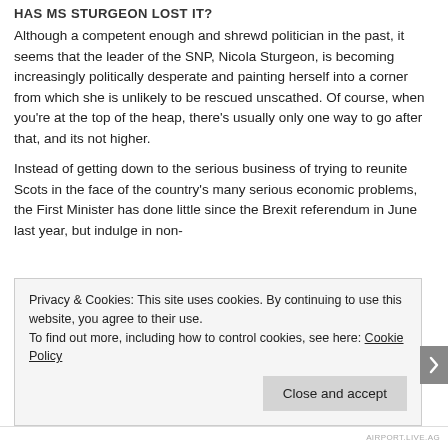HAS MS STURGEON LOST IT?
Although a competent enough and shrewd politician in the past, it seems that the leader of the SNP, Nicola Sturgeon, is becoming increasingly politically desperate and painting herself into a corner from which she is unlikely to be rescued unscathed. Of course, when you're at the top of the heap, there's usually only one way to go after that, and its not higher.
Instead of getting down to the serious business of trying to reunite Scots in the face of the country's many serious economic problems, the First Minister has done little since the Brexit referendum in June last year, but indulge in non-
Privacy & Cookies: This site uses cookies. By continuing to use this website, you agree to their use.
To find out more, including how to control cookies, see here: Cookie Policy
Close and accept
AIRPORT.LIVE.AG